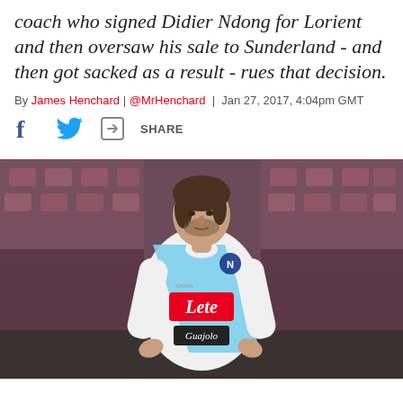coach who signed Didier Ndong for Lorient and then oversaw his sale to Sunderland - and then got sacked as a result - rues that decision.
By James Henchard | @MrHenchard | Jan 27, 2017, 4:04pm GMT
[Figure (photo): A footballer wearing a white and light blue SSC Napoli kit with the Lete sponsor logo, standing with hands on hips on a football pitch, looking to the side. Crowd visible in blurred background.]